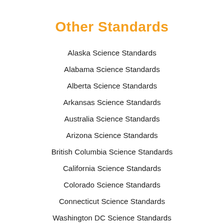Other Standards
Alaska Science Standards
Alabama Science Standards
Alberta Science Standards
Arkansas Science Standards
Australia Science Standards
Arizona Science Standards
British Columbia Science Standards
California Science Standards
Colorado Science Standards
Connecticut Science Standards
Washington DC Science Standards
Delaware Science Standards
Florida Science Standards
Georgia Science Standards
Hawaii Science Standards